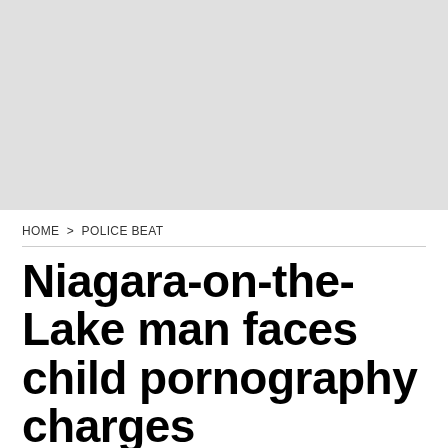[Figure (other): Gray advertisement placeholder banner at the top of the page]
HOME  >  POLICE BEAT
Niagara-on-the-Lake man faces child pornography charges
The 41-year-old was arrested after a search warrant was executed at a residence in the town